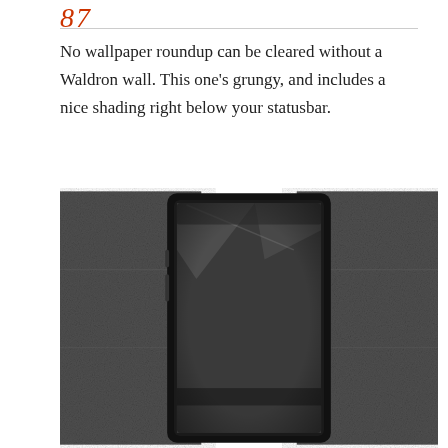87
No wallpaper roundup can be cleared without a Waldron wall. This one's grungy, and includes a nice shading right below your statusbar.
[Figure (screenshot): Phone mockup showing a grungy dark wallpaper with texture on the sides and a dark screen with a diagonal light reflection at the top and a darker bar near the bottom.]